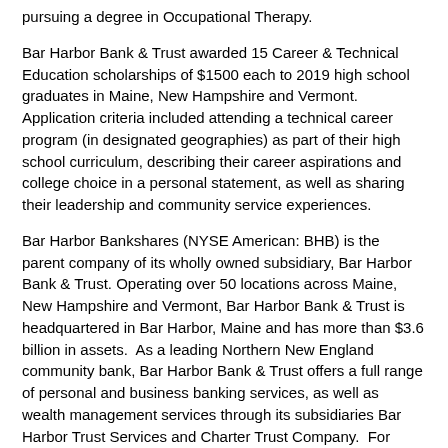pursuing a degree in Occupational Therapy.
Bar Harbor Bank & Trust awarded 15 Career & Technical Education scholarships of $1500 each to 2019 high school graduates in Maine, New Hampshire and Vermont. Application criteria included attending a technical career program (in designated geographies) as part of their high school curriculum, describing their career aspirations and college choice in a personal statement, as well as sharing their leadership and community service experiences.
Bar Harbor Bankshares (NYSE American: BHB) is the parent company of its wholly owned subsidiary, Bar Harbor Bank & Trust. Operating over 50 locations across Maine, New Hampshire and Vermont, Bar Harbor Bank & Trust is headquartered in Bar Harbor, Maine and has more than $3.6 billion in assets.  As a leading Northern New England community bank, Bar Harbor Bank & Trust offers a full range of personal and business banking services, as well as wealth management services through its subsidiaries Bar Harbor Trust Services and Charter Trust Company.  For more information about Bar Harbor Bank & Trust, visit www.barharbor.bank or call 888-853-7100.  Member FDIC.